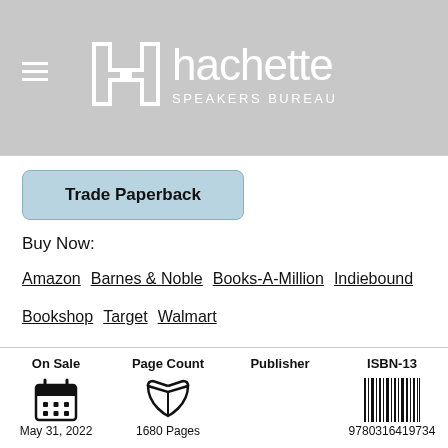[Figure (logo): Hachette Speakers Bureau logo with white icon and text on grey background]
Trade Paperback
Buy Now:
Amazon   Barnes & Noble   Books-A-Million   Indiebound   Bookshop   Target   Walmart
| On Sale | Page Count | Publisher | ISBN-13 |
| --- | --- | --- | --- |
| May 31, 2022 | 1680 Pages |  | 9780316419734 |